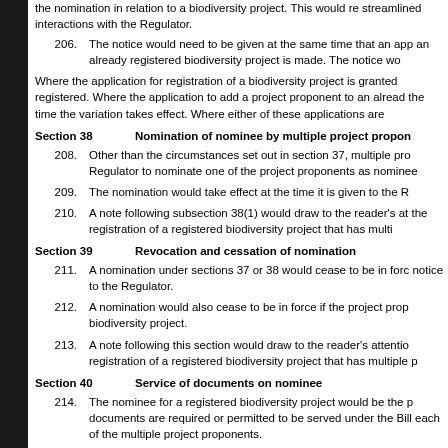the nomination in relation to a biodiversity project. This would re streamlined interactions with the Regulator.
206. The notice would need to be given at the same time that an app an already registered biodiversity project is made. The notice wo
Where the application for registration of a biodiversity project is granted registered. Where the application to add a project proponent to an alread the time the variation takes effect. Where either of these applications are
Section 38 Nomination of nominee by multiple project propon
208. Other than the circumstances set out in section 37, multiple pro Regulator to nominate one of the project proponents as nominee
209. The nomination would take effect at the time it is given to the R
210. A note following subsection 38(1) would draw to the reader's at the registration of a registered biodiversity project that has multi
Section 39 Revocation and cessation of nomination
211. A nomination under sections 37 or 38 would cease to be in forc notice to the Regulator.
212. A nomination would also cease to be in force if the project prop biodiversity project.
213. A note following this section would draw to the reader's attentio registration of a registered biodiversity project that has multiple p
Section 40 Service of documents on nominee
214. The nominee for a registered biodiversity project would be the p documents are required or permitted to be served under the Bill each of the multiple project proponents.